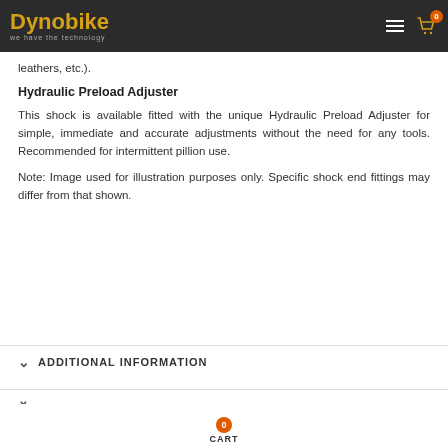Dynobike — we have the technology
leathers, etc.).
Hydraulic Preload Adjuster
This shock is available fitted with the unique Hydraulic Preload Adjuster for simple, immediate and accurate adjustments without the need for any tools. Recommended for intermittent pillion use.
Note: Image used for illustration purposes only. Specific shock end fittings may differ from that shown.
ADDITIONAL INFORMATION